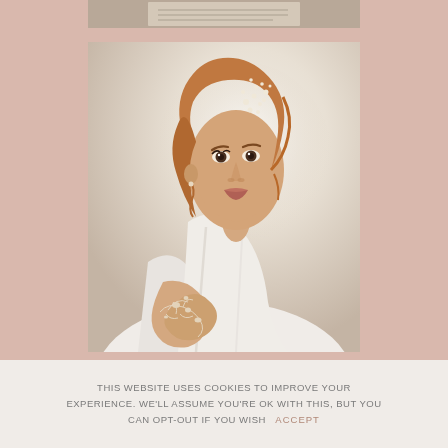[Figure (photo): Partial top image of a book or text page, cropped at top]
[Figure (photo): Portrait photograph of a bride with auburn wavy hair styled with pearl/crystal hair accessories, wearing white dress and floral arm tattoo, posed against soft white/cream background]
[Figure (photo): Partial bottom image showing auburn hair, cropped]
THIS WEBSITE USES COOKIES TO IMPROVE YOUR EXPERIENCE. WE'LL ASSUME YOU'RE OK WITH THIS, BUT YOU CAN OPT-OUT IF YOU WISH  ACCEPT